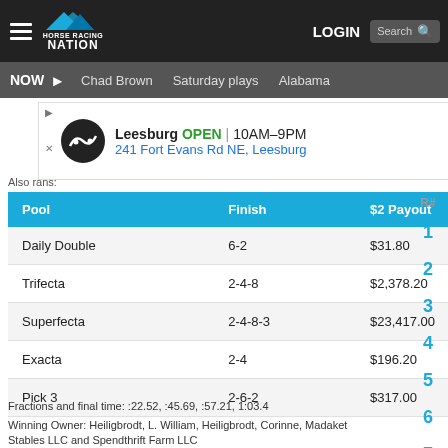Horse Racing Nation | LOGIN | Search
NOW | Chad Brown | Saturday plays | Alabama
[Figure (other): Advertisement banner for Leesburg store, OPEN 10AM-9PM, 241 Fort Evans Rd NE, Leesburg]
Also rans:
| Pool | Finish | $2 Payout | Total Pool |
| --- | --- | --- | --- |
| Daily Double | 6-2 | $31.80 | $22,559.00 |
| Trifecta | 2-4-8 | $2,378.20 | $106,999.00 |
| Superfecta | 2-4-8-3 | $23,417.00 | $63,383.00 |
| Exacta | 2-4 | $196.20 | $173,425.00 |
| Pick 3 | 2-6-2 | $317.00 | $39,054.00 |
Fractions and final time: :22.52, :45.69, :57.21, 1:03.4
Winning Owner: Heiligbrodt, L. William, Heiligbrodt, Corinne, Madaket Stables LLC and Spendthrift Farm LLC